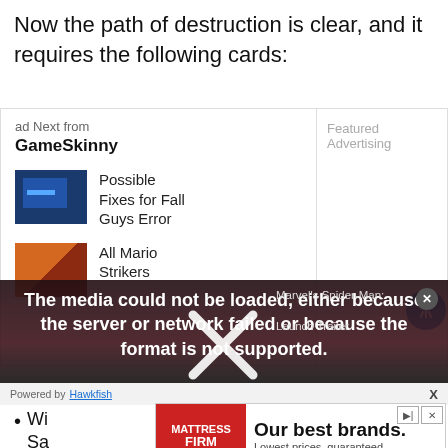Now the path of destruction is clear, and it requires the following cards:
ad Next from
GameSkinny
Featured Advertising
Possible Fixes for Fall Guys Error
All Mario Strikers
[Figure (screenshot): Video error overlay with text: The media could not be loaded, either because the server or network failed or because the format is not supported. Marvel's Spider-Man: Launch Trailer label visible. Large X dismiss icon overlaid.]
Powered by Hawkfish
Wi
Sa
[Figure (advertisement): Mattress Firm advertisement: Our best brands. Lowest prices, guaranteed.]